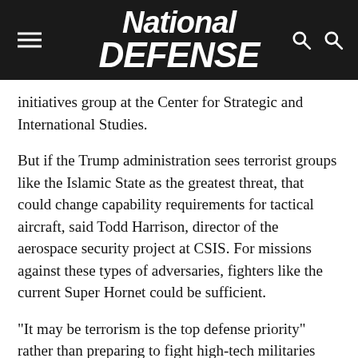National Defense
initiatives group at the Center for Strategic and International Studies.
But if the Trump administration sees terrorist groups like the Islamic State as the greatest threat, that could change capability requirements for tactical aircraft, said Todd Harrison, director of the aerospace security project at CSIS. For missions against these types of adversaries, fighters like the current Super Hornet could be sufficient.
“It may be terrorism is the top defense priority” rather than preparing to fight high-tech militaries